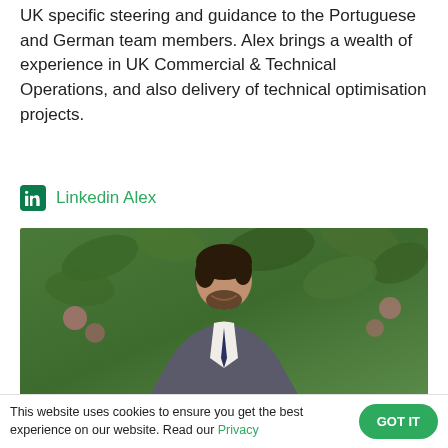UK specific steering and guidance to the Portuguese and German team members. Alex brings a wealth of experience in UK Commercial & Technical Operations, and also delivery of technical optimisation projects.
Linkedin Alex
[Figure (photo): A smiling man with dark hair and a beard, wearing a grey suit and dark tie, photographed outdoors in front of green foliage with pink flowers.]
This website uses cookies to ensure you get the best experience on our website. Read our Privacy